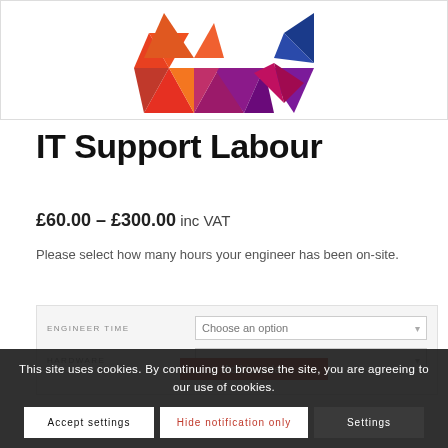[Figure (logo): Colorful geometric logo made of triangles in red, orange, magenta, purple, and blue forming a chevron/arrow shape]
IT Support Labour
£60.00 – £300.00 inc VAT
Please select how many hours your engineer has been on-site.
ENGINEER TIME   Choose an option
HARDWARE
Add to order
This site uses cookies. By continuing to browse the site, you are agreeing to our use of cookies.
Accept settings   Hide notification only   Settings